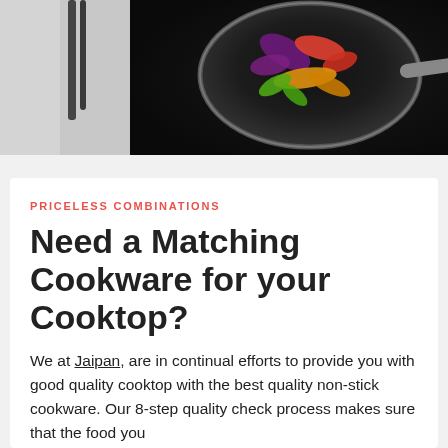[Figure (photo): A black induction cooktop with a non-stick frying pan containing colorful stir-fried vegetables (red, orange, purple, green), with a pan handle extending to the right and a white countertop surface visible on the left.]
PRICELESS COMBINATIONS
Need a Matching Cookware for your Cooktop?
We at Jaipan, are in continual efforts to provide you with good quality cooktop with the best quality non-stick cookware. Our 8-step quality check process makes sure that the food you